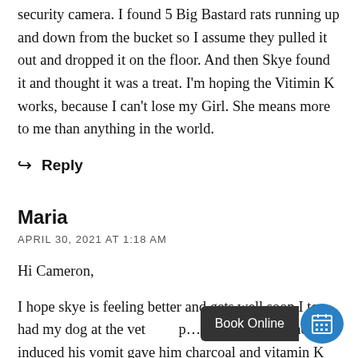security camera. I found 5 Big Bastard rats running up and down from the bucket so I assume they pulled it out and dropped it on the floor. And then Skye found it and thought it was a treat. I'm hoping the Vitimin K works, because I can't lose my Girl. She means more to me than anything in the world.
↩ Reply
Maria
APRIL 30, 2021 AT 1:18 AM
Hi Cameron,
I hope skye is feeling better and gets well soon I too had my dog at the vet pu he ate rat sak, they induced his vomit gave him charcoal and vitamin K for 30 days. Total cost